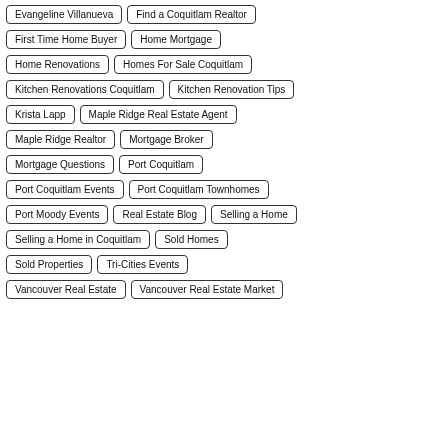Evangeline Villanueva
Find a Coquitlam Realtor
First Time Home Buyer
Home Mortgage
Home Renovations
Homes For Sale Coquitlam
Kitchen Renovations Coquitlam
Kitchen Renovation Tips
Krista Lapp
Maple Ridge Real Estate Agent
Maple Ridge Realtor
Mortgage Broker
Mortgage Questions
Port Coquitlam
Port Coquitlam Events
Port Coquitlam Townhomes
Port Moody Events
Real Estate Blog
Selling a Home
Selling a Home in Coquitlam
Sold Homes
Sold Properties
Tri-Cities Events
Vancouver Real Estate
Vancouver Real Estate Market